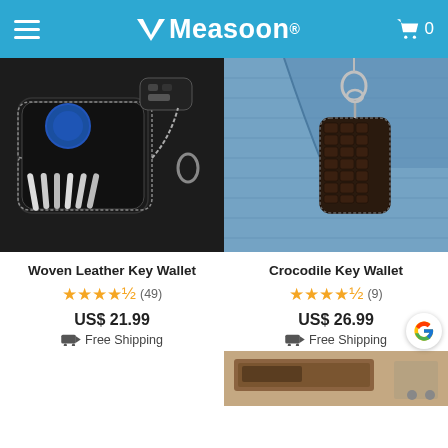Measoon® — shopping app header with hamburger menu and cart (0 items)
[Figure (photo): Woven leather key wallet open showing multiple keys and a car remote key fob, on dark background]
[Figure (photo): Crocodile texture key wallet hanging from jeans pocket via carabiner clip]
Woven Leather Key Wallet
★★★★★ (49)
US$ 21.99
🚚 Free Shipping
Crocodile Key Wallet
★★★★★ (9)
US$ 26.99
🚚 Free Shipping
[Figure (photo): Partial view of another product at bottom right — appears to be a leather item on wooden surface]